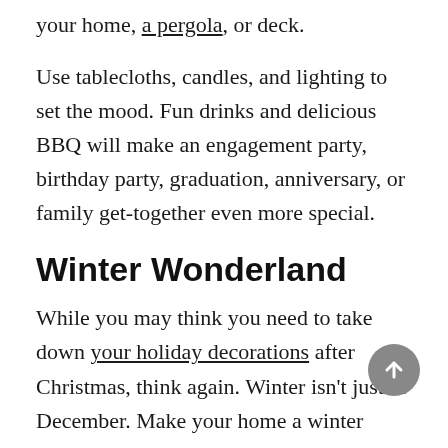your home, a pergola, or deck.
Use tablecloths, candles, and lighting to set the mood. Fun drinks and delicious BBQ will make an engagement party, birthday party, graduation, anniversary, or family get-together even more special.
Winter Wonderland
While you may think you need to take down your holiday decorations after Christmas, think again. Winter isn’t just in December. Make your home a winter wonderland all year round.
Using professional lighting on your home and in